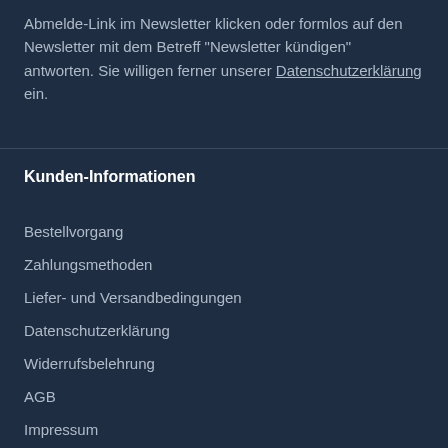Abmelde-Link im Newsletter klicken oder formlos auf den Newsletter mit dem Betreff "Newsletter kündigen" antworten. Sie willigen ferner unserer Datenschutzerklärung ein.
Kunden-Informationen
Bestellvorgang
Zahlungsmethoden
Liefer- und Versandbedingungen
Datenschutzerklärung
Widerrufsbelehrung
AGB
Impressum